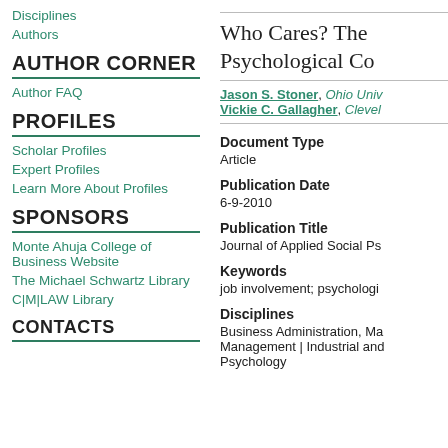Disciplines
Authors
AUTHOR CORNER
Author FAQ
PROFILES
Scholar Profiles
Expert Profiles
Learn More About Profiles
SPONSORS
Monte Ahuja College of Business Website
The Michael Schwartz Library
C|M|LAW Library
Who Cares? The Psychological Co
Jason S. Stoner, Ohio Univ
Vickie C. Gallagher, Clevel
Document Type
Article
Publication Date
6-9-2010
Publication Title
Journal of Applied Social Ps
Keywords
job involvement; psychologi
Disciplines
Business Administration, Ma
Management | Industrial and
Psychology